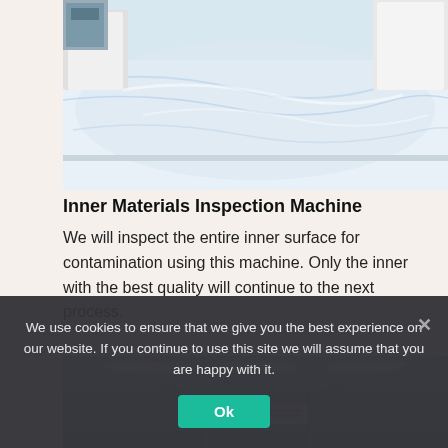[Figure (photo): Workers in white coats inspecting a large white material/fabric on a table in a clean room environment.]
Inner Materials Inspection Machine
We will inspect the entire inner surface for contamination using this machine. Only the inner with the best quality will continue to the next process.
[Figure (photo): Interior of a clean room with fluorescent ceiling lights, glass partitions, and a sign visible in the background.]
We use cookies to ensure that we give you the best experience on our website. If you continue to use this site we will assume that you are happy with it.